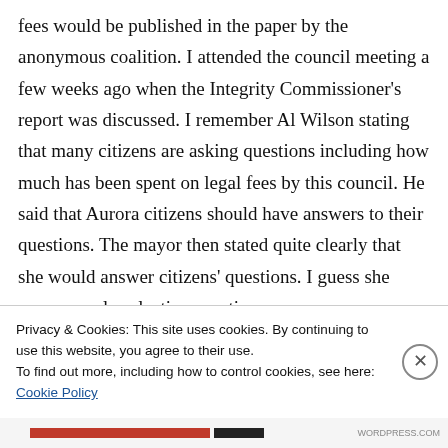fees would be published in the paper by the anonymous coalition. I attended the council meeting a few weeks ago when the Integrity Commissioner's report was discussed. I remember Al Wilson stating that many citizens are asking questions including how much has been spent on legal fees by this council. He said that Aurora citizens should have answers to their questions. The mayor then stated quite clearly that she would answer citizens' questions. I guess she answers only selective questions
Privacy & Cookies: This site uses cookies. By continuing to use this website, you agree to their use.
To find out more, including how to control cookies, see here: Cookie Policy
Close and accept